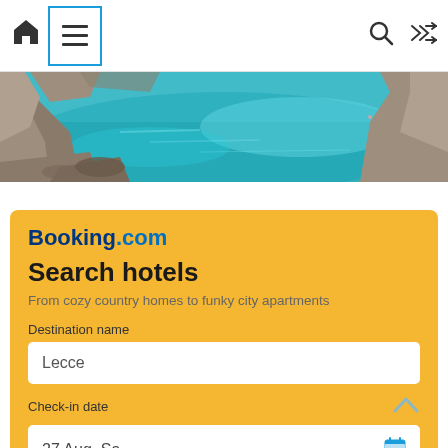[Figure (screenshot): Mobile navigation bar with home icon, hamburger menu (highlighted with blue border), search icon, and shuffle icon on white background]
[Figure (photo): Coastal scene with turquoise water, rocky shoreline and cliffs, aerial/wide angle view]
Booking.com
Search hotels
From cozy country homes to funky city apartments
Destination name
Lecce
Check-in date
27 Aug, Sa